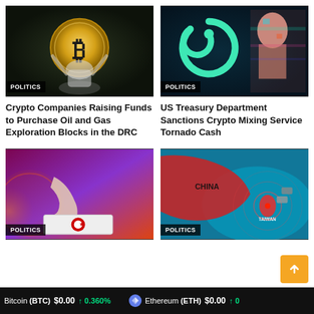[Figure (photo): Bitcoin coin with elephant sculpture on dark background, Politics badge]
[Figure (photo): Teal swirling logo with colorful glitched statue on dark background, Politics badge]
Crypto Companies Raising Funds to Purchase Oil and Gas Exploration Blocks in the DRC
US Treasury Department Sanctions Crypto Mixing Service Tornado Cash
[Figure (photo): Hand with North Korea flag on tablet/phone, red purple background, Politics badge]
[Figure (photo): Map showing China and Taiwan with military imagery, Politics badge]
Bitcoin (BTC) $0.00 ↑ 0.360%    Ethereum (ETH) $0.00 ↑ 0